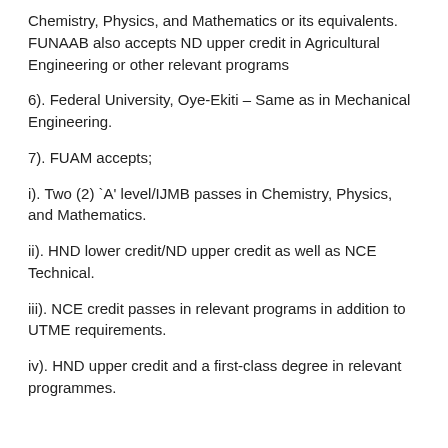Chemistry, Physics, and Mathematics or its equivalents. FUNAAB also accepts ND upper credit in Agricultural Engineering or other relevant programs
6). Federal University, Oye-Ekiti – Same as in Mechanical Engineering.
7). FUAM accepts;
i). Two (2) 'A' level/IJMB passes in Chemistry, Physics, and Mathematics.
ii). HND lower credit/ND upper credit as well as NCE Technical.
iii). NCE credit passes in relevant programs in addition to UTME requirements.
iv). HND upper credit and a first-class degree in relevant programmes.